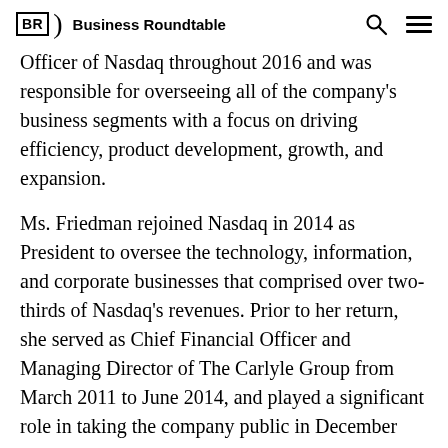BR Business Roundtable
Officer of Nasdaq throughout 2016 and was responsible for overseeing all of the company's business segments with a focus on driving efficiency, product development, growth, and expansion.
Ms. Friedman rejoined Nasdaq in 2014 as President to oversee the technology, information, and corporate businesses that comprised over two-thirds of Nasdaq's revenues. Prior to her return, she served as Chief Financial Officer and Managing Director of The Carlyle Group from March 2011 to June 2014, and played a significant role in taking the company public in December 2012.
Before Carlyle, Ms. Friedman was a key member of Nasdaq's management team for over a decade, serving in a variety of roles including head of the company's